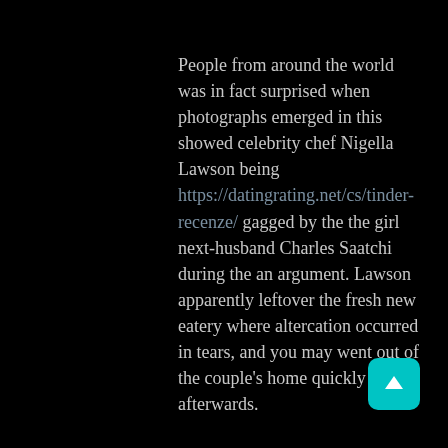People from around the world was in fact surprised when photographs emerged in this showed celebrity chef Nigella Lawson being https://datingrating.net/cs/tinder-recenze/ gagged by the the girl next-husband Charles Saatchi during the an argument. Lawson apparently leftover the fresh new eatery where altercation occurred in tears, and you may went out of the couple's home quickly afterwards.
[Figure (other): Teal/cyan rounded square button with a white upward arrow, positioned in the bottom-right corner of the page]